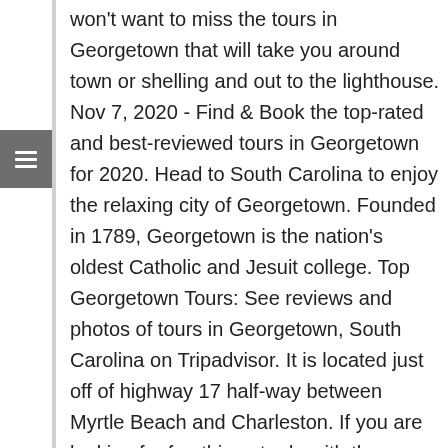won't want to miss the tours in Georgetown that will take you around town or shelling and out to the lighthouse. Nov 7, 2020 - Find & Book the top-rated and best-reviewed tours in Georgetown for 2020. Head to South Carolina to enjoy the relaxing city of Georgetown. Founded in 1789, Georgetown is the nation's oldest Catholic and Jesuit college. Top Georgetown Tours: See reviews and photos of tours in Georgetown, South Carolina on Tripadvisor. It is located just off of highway 17 half-way between Myrtle Beach and Charleston. If you are looking for fun things to do with the family, check out the events calendar and partake in our fun festivals, parades, and concerts. Free & Paid Advertising Opportunities.Website designed and maintained by Atlantis Group/DesignContent copyright 2009-2019. These are the best places for kid-friendly tours in